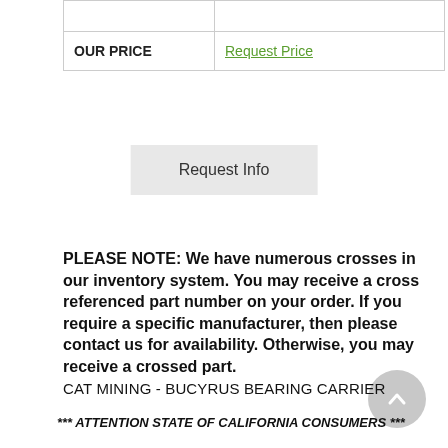|  |  |
| --- | --- |
|  |  |
| OUR PRICE | Request Price |
Request Info
PLEASE NOTE: We have numerous crosses in our inventory system. You may receive a cross referenced part number on your order. If you require a specific manufacturer, then please contact us for availability. Otherwise, you may receive a crossed part.
CAT MINING - BUCYRUS BEARING CARRIER
*** ATTENTION STATE OF CALIFORNIA CONSUMERS ***